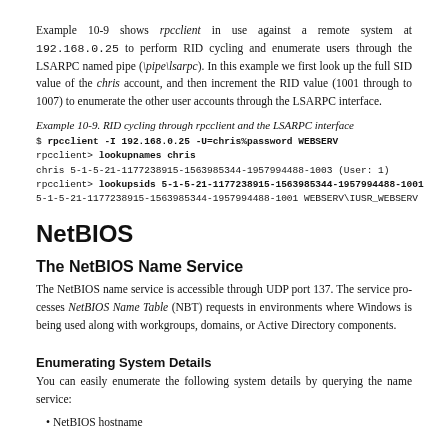Example 10-9 shows rpcclient in use against a remote system at 192.168.0.25 to perform RID cycling and enumerate users through the LSARPC named pipe (\pipe\lsarpc). In this example we first look up the full SID value of the chris account, and then increment the RID value (1001 through to 1007) to enumerate the other user accounts through the LSARPC interface.
Example 10-9. RID cycling through rpcclient and the LSARPC interface
$ rpcclient -I 192.168.0.25 -U=chris%password WEBSERV
rpcclient> lookupnames chris
chris 5-1-5-21-1177238915-1563985344-1957994488-1003 (User: 1)
rpcclient> lookupsids 5-1-5-21-1177238915-1563985344-1957994488-1001
5-1-5-21-1177238915-1563985344-1957994488-1001 WEBSERV\IUSR_WEBSERV
NetBIOS
The NetBIOS Name Service
The NetBIOS name service is accessible through UDP port 137. The service processes NetBIOS Name Table (NBT) requests in environments where Windows is being used along with workgroups, domains, or Active Directory components.
Enumerating System Details
You can easily enumerate the following system details by querying the name service:
NetBIOS hostname